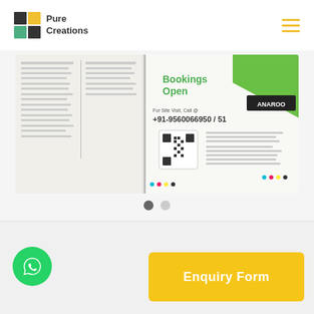[Figure (logo): Pure Creations logo with colored grid squares and text]
[Figure (photo): A newspaper/print advertisement for Anaroo Bookings Open promotion showing QR code, phone number +91-9560066950/51, green design element]
[Figure (infographic): Carousel pagination dots — one dark filled circle and one light grey circle]
[Figure (infographic): Green WhatsApp icon button (circular)]
Enquiry Form